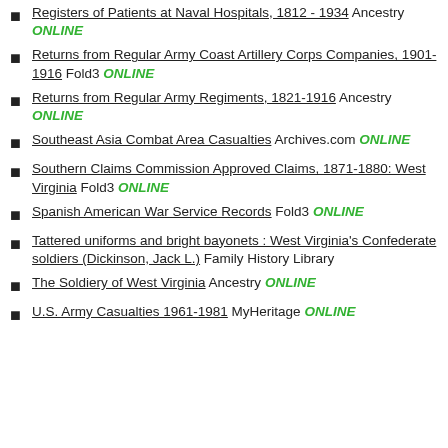Registers of Patients at Naval Hospitals, 1812 - 1934 Ancestry ONLINE
Returns from Regular Army Coast Artillery Corps Companies, 1901-1916 Fold3 ONLINE
Returns from Regular Army Regiments, 1821-1916 Ancestry ONLINE
Southeast Asia Combat Area Casualties Archives.com ONLINE
Southern Claims Commission Approved Claims, 1871-1880: West Virginia Fold3 ONLINE
Spanish American War Service Records Fold3 ONLINE
Tattered uniforms and bright bayonets : West Virginia's Confederate soldiers (Dickinson, Jack L.) Family History Library
The Soldiery of West Virginia Ancestry ONLINE
U.S. Army Casualties 1961-1981 MyHeritage ONLINE